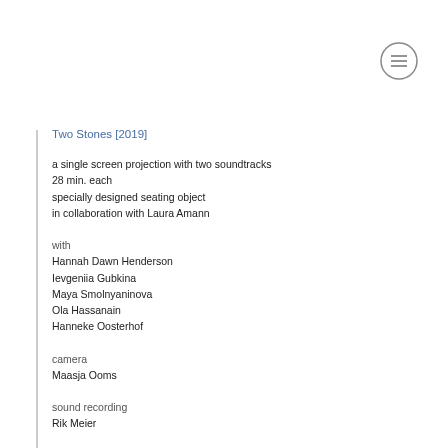Two Stones [2019]
a single screen projection with two soundtracks
28 min. each
specially designed seating object
in collaboration with Laura Amann
with
Hannah Dawn Henderson
Ievgeniia Gubkina
Maya Smolnyaninova
Ola Hassanain
Hanneke Oosterhof
camera
Maasja Ooms
sound recording
Rik Meier
sound mix
Titus Maderlechner
filmed on location
KhTZ in Kharkiv
Pendrecht in Rotterdam